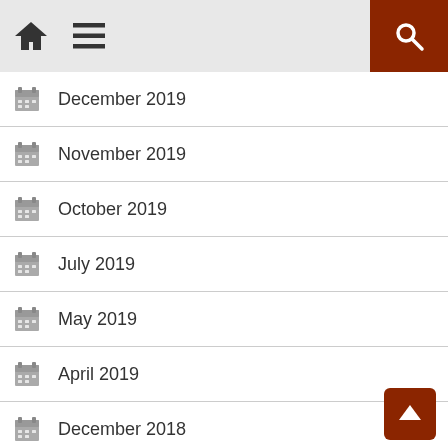Home Menu Search
December 2019
November 2019
October 2019
July 2019
May 2019
April 2019
December 2018
November 2018
October 2018
May 2018